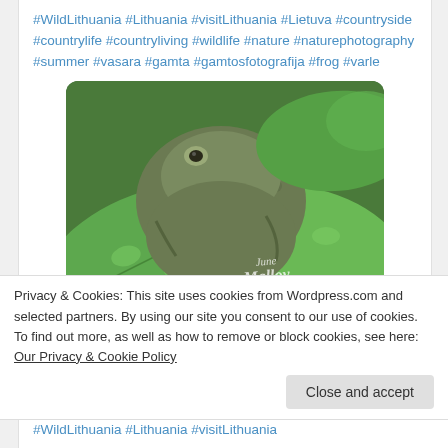#WildLithuania #Lithuania #visitLithuania #Lietuva #countryside #countrylife #countryliving #wildlife #nature #naturephotography #summer #vasara #gamta #gamtosfotografija #frog #varle
[Figure (photo): Close-up photo of a frog sitting on large green leaves, with a watermark reading 'June Malloy' in cursive script in the bottom right corner.]
Privacy & Cookies: This site uses cookies from Wordpress.com and selected partners. By using our site you consent to our use of cookies. To find out more, as well as how to remove or block cookies, see here: Our Privacy & Cookie Policy
Close and accept
#WildLithuania #Lithuania #visitLithuania